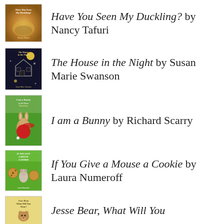Have You Seen My Duckling? by Nancy Tafuri
The House in the Night by Susan Marie Swanson
I am a Bunny by Richard Scarry
If You Give a Mouse a Cookie by Laura Numeroff
Jesse Bear, What Will You